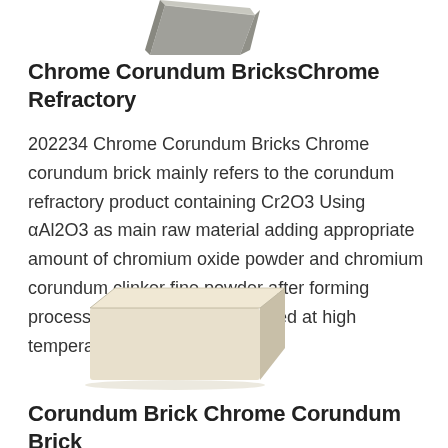[Figure (illustration): A grey metallic wedge-shaped refractory brick or chrome corundum brick product, photographed from above-front at an angle, showing a trapezoidal block shape.]
Chrome Corundum BricksChrome Refractory
202234 Chrome Corundum Bricks Chrome corundum brick mainly refers to the corundum refractory product containing Cr2O3 Using αAl2O3 as main raw material adding appropriate amount of chromium oxide powder and chromium corundum clinker fine powder after forming process the bricks will be sintered at high temperature
[Figure (photo): A pale cream/beige rectangular refractory brick (light weight corundum brick), shown as a standard rectangular block with beveled edges and uniform texture.]
Corundum Brick Chrome Corundum Brick Light Weight